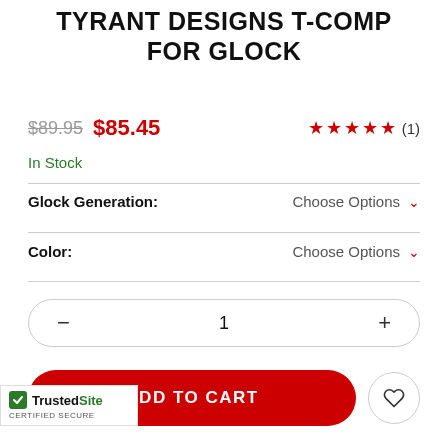TYRANT DESIGNS T-COMP FOR GLOCK
$89.95  $85.45  ★★★★★ (1)
In Stock
Glock Generation:  Choose Options
Color:  Choose Options
- 1 +
ADD TO CART
[Figure (logo): TrustedSite Certified Secure badge with green checkmark]